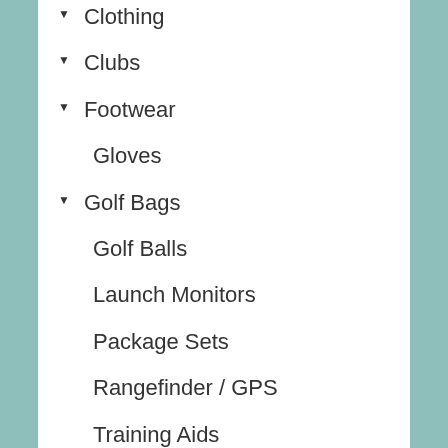▾ Clothing
▾ Clubs
▾ Footwear
Gloves
▾ Golf Bags
Golf Balls
Launch Monitors
Package Sets
Rangefinder / GPS
Training Aids
Trundlers
▾ Wet Weather Gear